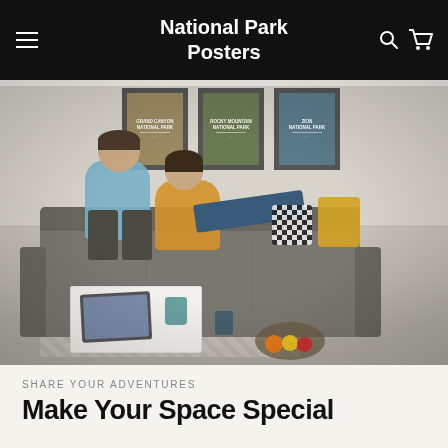National Park Posters
[Figure (photo): Couple sitting on a grey couch in a living room with three framed National Park posters on the wall behind them. Grand Canyon, Rocky Mountain, and Zion National Park posters. White coffee table in foreground with tablet and mug. Yellow accent pillows visible on couch.]
SHARE YOUR ADVENTURES
Make Your Space Special